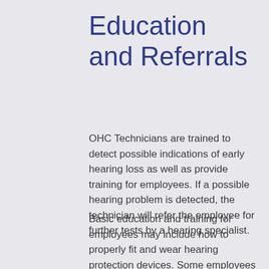Education and Referrals
OHC Technicians are trained to detect possible indications of early hearing loss as well as provide training for employees. If a possible hearing problem is detected, the technician will refer the employee for further tests by a hearing specialist.
Basic education and training for employees may include how to properly fit and wear hearing protection devices. Some employees may require more sophisticated and customized hearing protection. Environmental modifications on the part of the employer may also be in order.